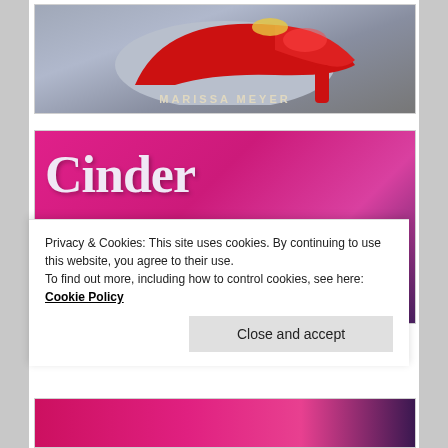[Figure (illustration): Book cover showing a red high-heel shoe with author name MARISSA MEYER at the bottom, on a gray-blue background]
[Figure (illustration): Book cover for 'Cinder' by Marissa Meyer, featuring large decorative pink/white title text and a figure with a dark ponytail on a magenta/pink background with a dark right strip]
Privacy & Cookies: This site uses cookies. By continuing to use this website, you agree to their use.
To find out more, including how to control cookies, see here: Cookie Policy
[Figure (illustration): Partial bottom book cover, appears to be another Cinder series book with pink/magenta tones]